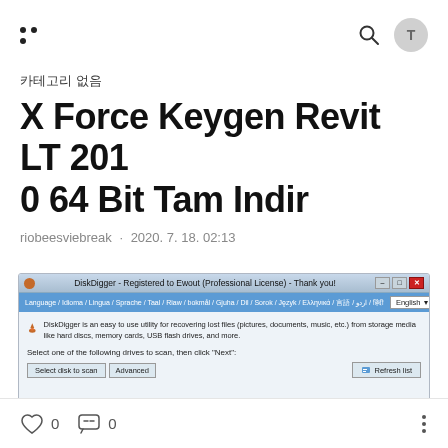Navigation and search header with logo dots, search icon, and avatar
카테고리 없음
X Force Keygen Revit LT 2010 64 Bit Tam Indir
riobeesviebreak · 2020. 7. 18. 02:13
[Figure (screenshot): Screenshot of DiskDigger application window showing title bar 'DiskDigger - Registered to Ewout (Professional License) - Thank you!', language selection bar, application description, drive selection prompt, and Refresh list button]
0 likes, 0 comments, more options